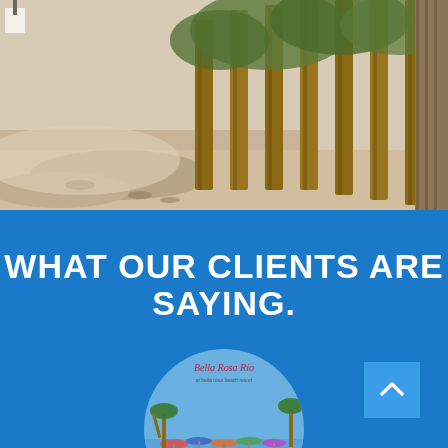[Figure (photo): Outdoor photo showing sandy ground with wooden stilts or posts arranged in a row, with vegetation and trees in the background. Sandy erosion scene.]
WHAT OUR CLIENTS ARE SAYING.
[Figure (logo): Circular logo or image showing a beach resort or pool area with palm trees, umbrellas, and lounge chairs along the waterfront. Text at top reads 'Bella Rosa Ria' or similar script.]